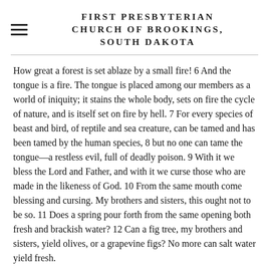FIRST PRESBYTERIAN CHURCH OF BROOKINGS, SOUTH DAKOTA
How great a forest is set ablaze by a small fire! 6 And the tongue is a fire. The tongue is placed among our members as a world of iniquity; it stains the whole body, sets on fire the cycle of nature, and is itself set on fire by hell. 7 For every species of beast and bird, of reptile and sea creature, can be tamed and has been tamed by the human species, 8 but no one can tame the tongue—a restless evil, full of deadly poison. 9 With it we bless the Lord and Father, and with it we curse those who are made in the likeness of God. 10 From the same mouth come blessing and cursing. My brothers and sisters, this ought not to be so. 11 Does a spring pour forth from the same opening both fresh and brackish water? 12 Can a fig tree, my brothers and sisters, yield olives, or a grapevine figs? No more can salt water yield fresh.